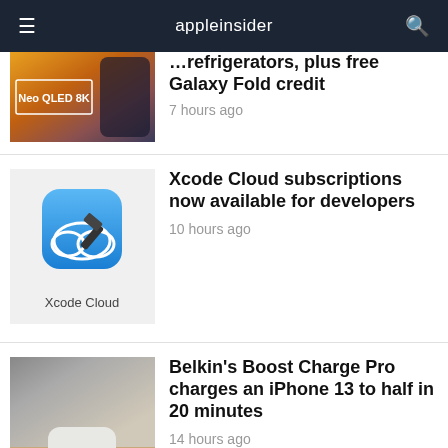appleinsider
refrigerators, plus free Galaxy Fold credit
7 hours ago
[Figure (photo): Xcode Cloud app icon with hammer]
Xcode Cloud subscriptions now available for developers
10 hours ago
[Figure (photo): Belkin Boost Charge Pro USB-C charger on a wooden surface]
Belkin's Boost Charge Pro charges an iPhone 13 to half in 20 minutes
14 hours ago
[Figure (photo): iPhone 14 Pro rear view showing camera array, gold color]
Leaker claims to have hands-on iPhone 14 details